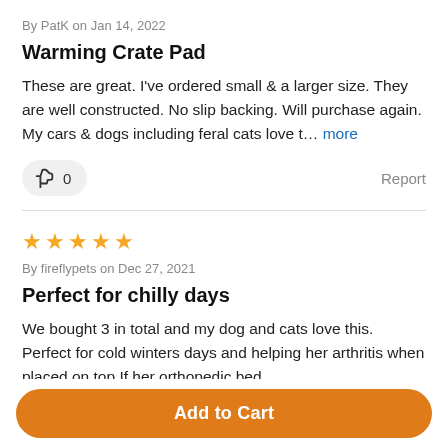By PatK on Jan 14, 2022
Warming Crate Pad
These are great. I've ordered small & a larger size. They are well constructed. No slip backing. Will purchase again. My cars & dogs including feral cats love t… more
👍 0   Report
[Figure (other): Five orange star rating icons]
By fireflypets on Dec 27, 2021
Perfect for chilly days
We bought 3 in total and my dog and cats love this. Perfect for cold winters days and helping her arthritis when placed on top If her orthopedic bed
Add to Cart